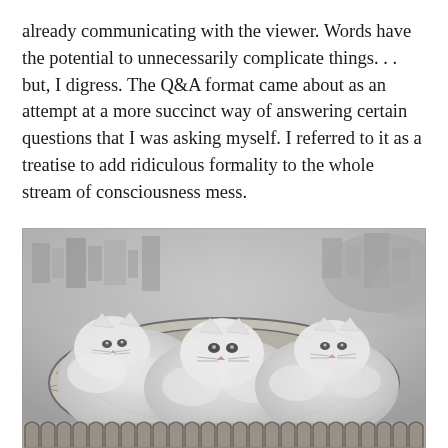already communicating with the viewer. Words have the potential to unnecessarily complicate things. . . but, I digress. The Q&A format came about as an attempt at a more succinct way of answering certain questions that I was asking myself. I referred to it as a treatise to add ridiculous formality to the whole stream of consciousness mess.
[Figure (illustration): Black and white pencil or charcoal illustration depicting large fluffy white cats nestled inside the Roman Colosseum, with an aerial cityscape of Rome visible in the background.]